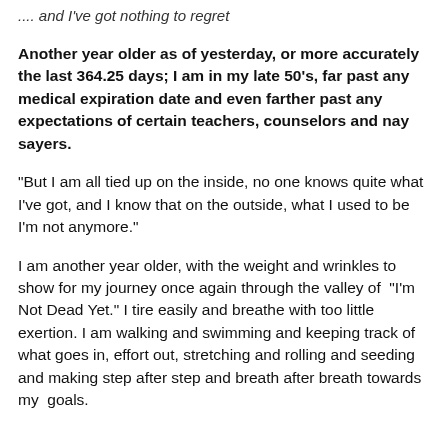.... and I've got nothing to regret
Another year older as of yesterday, or more accurately the last 364.25 days; I am in my late 50's, far past any medical expiration date and even farther past any expectations of certain teachers, counselors and nay sayers.
“But I am all tied up on the inside, no one knows quite what I’ve got, and I know that on the outside, what I used to be I’m not anymore.”
I am another year older, with the weight and wrinkles to show for my journey once again through the valley of “I’m Not Dead Yet.” I tire easily and breathe with too little exertion. I am walking and swimming and keeping track of what goes in, effort out, stretching and rolling and seeding and making step after step and breath after breath towards my goals.